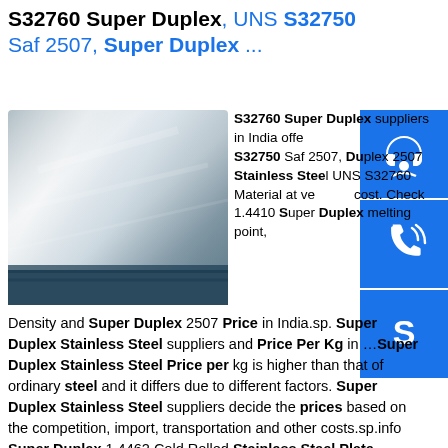S32760 Super Duplex, UNS S32750 Saf 2507, Super Duplex ...
[Figure (photo): Stainless steel sheet/plate with reflective surface, bluish metallic sheen]
S32760 Super Duplex suppliers in India offer S32750 Saf 2507, Duplex 2507 Stainless Steel UNS S32760 Material at very low cost. Check 1.4410 Super Duplex melting point, Density and Super Duplex 2507 Price in India.sp. Super Duplex Stainless Steel suppliers and Price Per Kg in ...Super Duplex Stainless Steel Price per kg is higher than that of ordinary steel and it differs due to different factors. Super Duplex Stainless Steel suppliers decide the prices based on the competition, import, transportation and other costs.sp.info Super Duplex 1.4462 Cold Rolled Stainless Steel Plate ...Super Duplex Stainless Steel Plate Price Per Kg, Wholesale Price Per Kg, Wholesale Suppliers S32750 Super Duplex Plate